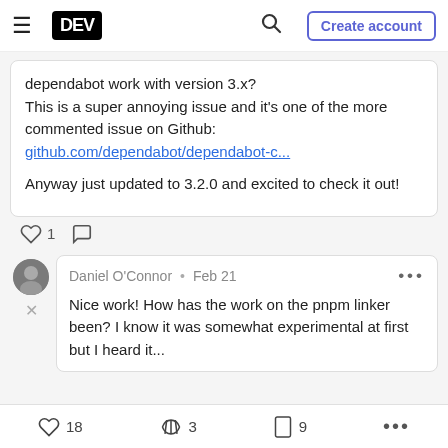DEV — navigation bar with logo, search, and Create account button
dependabot work with version 3.x?
This is a super annoying issue and it's one of the more commented issue on Github:
github.com/dependabot/dependabot-c...

Anyway just updated to 3.2.0 and excited to check it out!
♡ 1  ○
Daniel O'Connor · Feb 21
Nice work! How has the work on the pnpm linker been? I know it was somewhat experimental at first but I heard...
♡ 18   ≋ 3   □ 9   ...